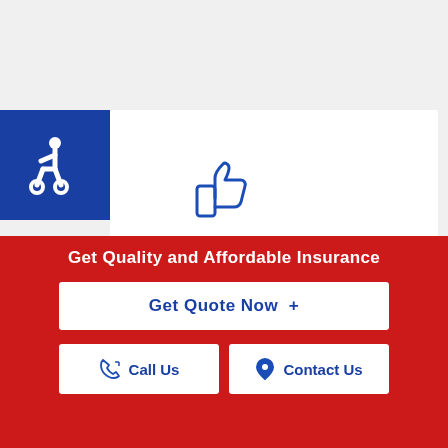[Figure (logo): Blue square with white wheelchair accessibility icon]
[Figure (illustration): Blue thumbs-up icon outline]
Many years in business
[Figure (illustration): Blue circle with checkmark icon]
100% customer satisfaction
Get Quality and Affordable Insurance
Get Quote Now  +
Call Us
Contact Us